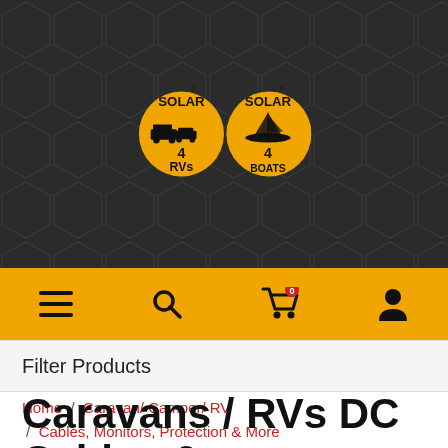[Figure (logo): Solar 4 RVs and Solar 4 Boats logos — two gold circular badges with black text and vehicle silhouettes on dark hexagon-patterned background]
[Figure (screenshot): Yellow mobile navigation bar with hamburger menu, search icon, shopping cart with red badge showing 0, and user account icon]
Filter Products
Home / Caravan/ Camper/ RV / Cables, Monitors, Protection & More
Caravans / RVs DC Cables & Accessories, Battery Monitors, Switches & Protection